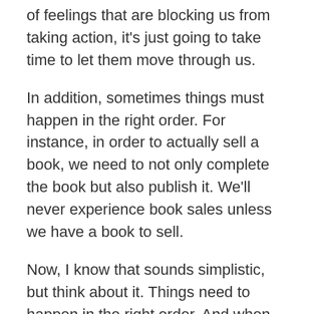of feelings that are blocking us from taking action, it's just going to take time to let them move through us.
In addition, sometimes things must happen in the right order. For instance, in order to actually sell a book, we need to not only complete the book but also publish it. We'll never experience book sales unless we have a book to sell.
Now, I know that sounds simplistic, but think about it. Things need to happen in the right order. And when we try and push and force, we may be trying to make something happen that actually CAN'T happen because we haven't put the foundation in place.
Let me illustrate with my blog. So, two things happened that helped make my blog far more popular and sticky